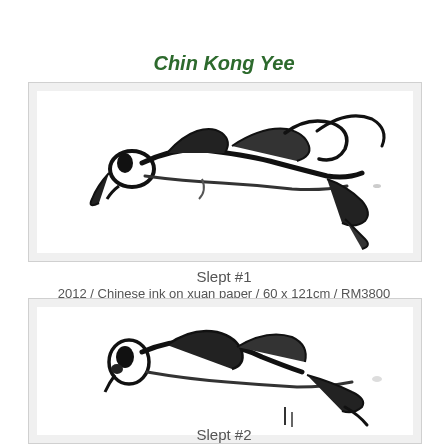Chin Kong Yee
[Figure (illustration): Abstract Chinese ink brush painting of a reclining figure, rendered in bold black strokes on white paper, showing a sleeping person in a curled position with expressive gestural marks.]
Slept #1
2012 / Chinese ink on xuan paper / 60 x 121cm / RM3800
[Figure (illustration): Abstract Chinese ink brush painting of a sleeping figure, rendered in bold black strokes, the figure appears to be curled up lying down, with expressive gestural ink marks.]
Slept #2